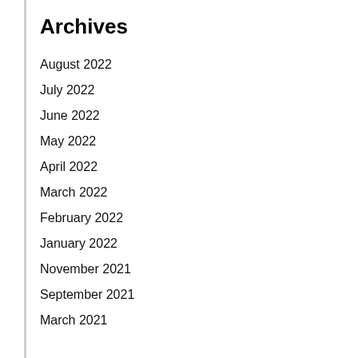Archives
August 2022
July 2022
June 2022
May 2022
April 2022
March 2022
February 2022
January 2022
November 2021
September 2021
March 2021